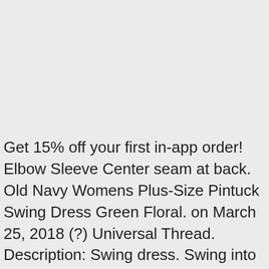Get 15% off your first in-app order! Elbow Sleeve Center seam at back. Old Navy Womens Plus-Size Pintuck Swing Dress Green Floral. on March 25, 2018 (?) Universal Thread. Description: Swing dress. Swing into the styles of your favorite retro era with a swing dress that's straight out of the prim and proper 1950s. Shop Navy Tie Dye Swing Dress at Yours Clothing. Cute Clothes for Tall Women. Visit site. OLD NAVY Swing Dress Long Sleeve Knee Length Blue Black White Floral NWT XXL. Get the lowest price on your favorite brands at Poshmark. Sold by